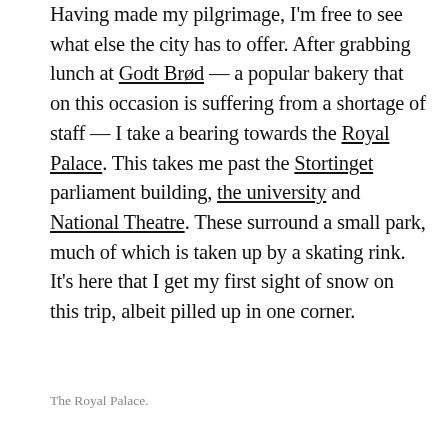Having made my pilgrimage, I'm free to see what else the city has to offer. After grabbing lunch at Godt Brød — a popular bakery that on this occasion is suffering from a shortage of staff — I take a bearing towards the Royal Palace. This takes me past the Stortinget parliament building, the university and National Theatre. These surround a small park, much of which is taken up by a skating rink. It's here that I get my first sight of snow on this trip, albeit pilled up in one corner.
The Royal Palace.